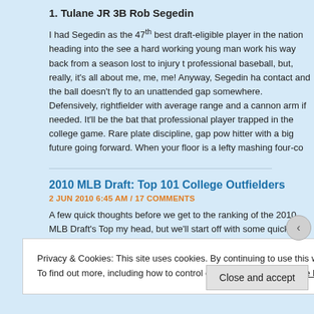1. Tulane JR 3B Rob Segedin
I had Segedin as the 47th best draft-eligible player in the nation heading into the see a hard working young man work his way back from a season lost to injury t professional baseball, but, really, it's all about me, me, me! Anyway, Segedin ha contact and the ball doesn't fly to an unattended gap somewhere. Defensively, rightfielder with average range and a cannon arm if needed. It'll be the bat that professional player trapped in the college game. Rare plate discipline, gap pow hitter with a big future going forward. When your floor is a lefty mashing four-co
2010 MLB Draft: Top 101 College Outfielders
2 JUN 2010 6:45 AM / 17 COMMENTS
A few quick thoughts before we get to the ranking of the 2010 MLB Draft's Top my head, but we'll start off with some quick justifications for players at the top o general overview of how I pieced together the list. I may also tweak this list here the bottom (a few pop-up guys I heretofore haven't paid enough attention to de
Privacy & Cookies: This site uses cookies. By continuing to use this website, you agree to their use.
To find out more, including how to control cookies, see here: Cookie Policy
Close and accept